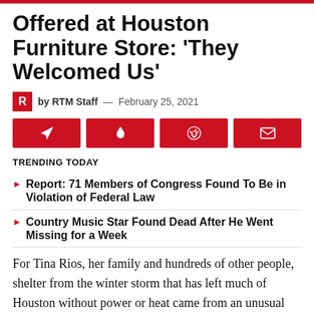Offered at Houston Furniture Store: ‘They Welcomed Us’
by RTM Staff — February 25, 2021
[Figure (infographic): Four red social share buttons with icons: arrow/send, drop/flame, Reddit alien, envelope]
TRENDING TODAY
Report: 71 Members of Congress Found To Be in Violation of Federal Law
Country Music Star Found Dead After He Went Missing for a Week
For Tina Rios, her family and hundreds of other people, shelter from the winter storm that has left much of Houston without power or heat came from an unusual place: a furniture store.